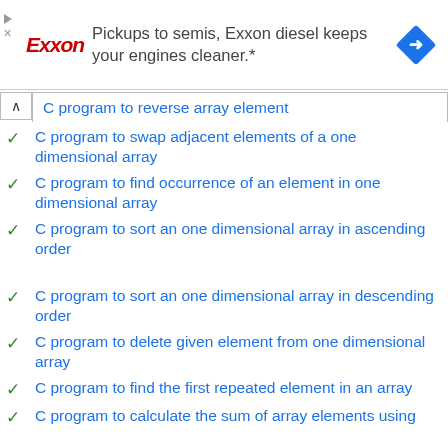[Figure (other): Exxon advertisement banner: 'Pickups to semis, Exxon diesel keeps your engines cleaner.*' with Exxon logo on left and blue diamond navigation sign icon on right]
C program to reverse array element
C program to swap adjacent elements of a one dimensional array
C program to find occurrence of an element in one dimensional array
C program to sort an one dimensional array in ascending order
C program to sort an one dimensional array in descending order
C program to delete given element from one dimensional array
C program to find the first repeated element in an array
C program to calculate the sum of array elements using